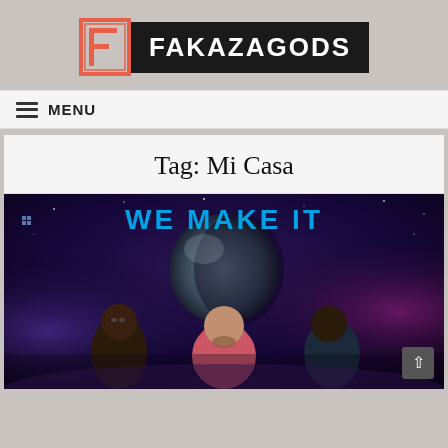[Figure (logo): Fakazagods logo with stylized F in coral/salmon color and FAKAZAGODS text in white on black background]
MENU
Tag: Mi Casa
[Figure (photo): Music promotional image showing three men standing in front of a large planet/globe against a cosmic purple/blue galaxy background with text 'WE MAKE IT' at the top in blue]